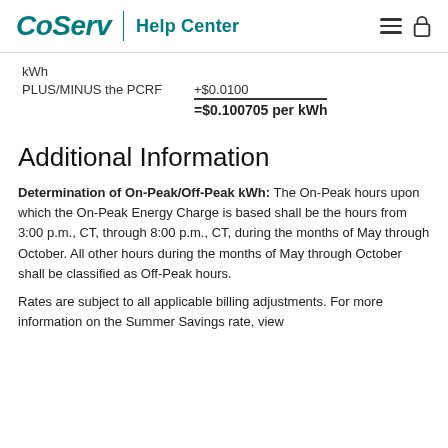CoServ | Help Center
kWh
PLUS/MINUS the PCRF   +$0.0100
=$0.100705 per kWh
Additional Information
Determination of On-Peak/Off-Peak kWh: The On-Peak hours upon which the On-Peak Energy Charge is based shall be the hours from 3:00 p.m., CT, through 8:00 p.m., CT, during the months of May through October. All other hours during the months of May through October shall be classified as Off-Peak hours.
Rates are subject to all applicable billing adjustments. For more information on the Summer Savings rate, view